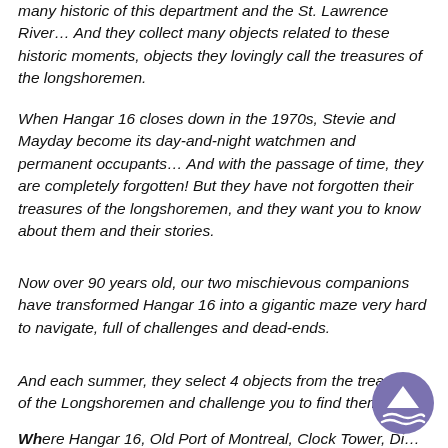many historic of this department and the St. Lawrence River… And they collect many objects related to these historic moments, objects they lovingly call the treasures of the longshoremen.
When Hangar 16 closes down in the 1970s, Stevie and Mayday become its day-and-night watchmen and permanent occupants… And with the passage of time, they are completely forgotten! But they have not forgotten their treasures of the longshoremen, and they want you to know about them and their stories.
Now over 90 years old, our two mischievous companions have transformed Hangar 16 into a gigantic maze very hard to navigate, full of challenges and dead-ends.
And each summer, they select 4 objects from the treasures of the Longshoremen and challenge you to find them.
Where Hangar 16, Old Port of Montreal, Clock Tower, Di…